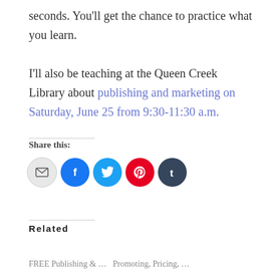seconds. You'll get the chance to practice what you learn.
I'll also be teaching at the Queen Creek Library about publishing and marketing on Saturday, June 25 from 9:30-11:30 a.m.
Share this:
[Figure (infographic): Social share icons: email (grey), Facebook (blue), Twitter (cyan), Pinterest (red), Tumblr (dark navy)]
Related
FREE Publishing & …  Promoting, Pricing, …